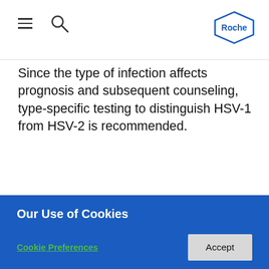Roche
Since the type of infection affects prognosis and subsequent counseling, type-specific testing to distinguish HSV-1 from HSV-2 is recommended.
Given HSV's potential for being overlooked
Our Use of Cookies
This website may use certain types of cookies and other technologies to personalize content and to show more personalized ads. By clicking “Accept”, you understand that you are directing Roche to disclose data that may be considered personal information to third parties for these purposes. For more details on what information we collect, why we collect it and to whom we disclose it, please visit our Privacy Policy.
Cookie Preferences
Accept